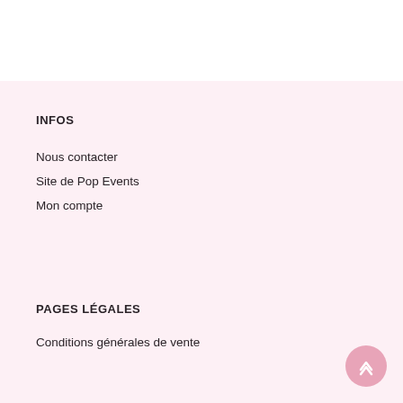INFOS
Nous contacter
Site de Pop Events
Mon compte
PAGES LÉGALES
Conditions générales de vente